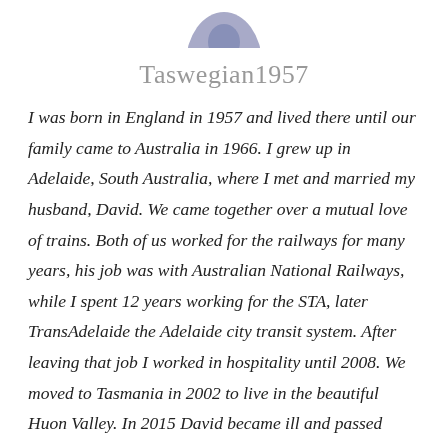[Figure (photo): Partial circular avatar/profile photo cropped at the top of the page, showing a person with blue-toned image]
Taswegian1957
I was born in England in 1957 and lived there until our family came to Australia in 1966. I grew up in Adelaide, South Australia, where I met and married my husband, David. We came together over a mutual love of trains. Both of us worked for the railways for many years, his job was with Australian National Railways, while I spent 12 years working for the STA, later TransAdelaide the Adelaide city transit system. After leaving that job I worked in hospitality until 2008. We moved to Tasmania in 2002 to live in the beautiful Huon Valley. In 2015 David became ill and passed away in October of that year. I currently co-write two blogs on WordPress.com with my